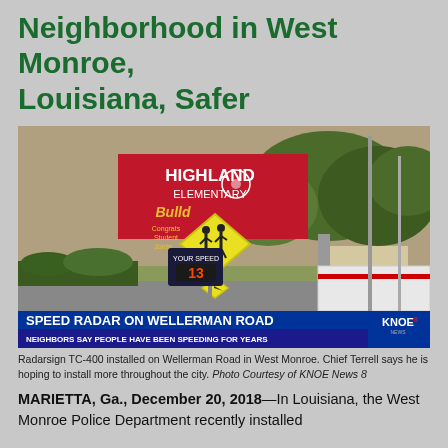Neighborhood in West Monroe, Louisiana, Safer
[Figure (photo): News broadcast screenshot showing a Radarsign TC-400 speed radar sign on Wellerman Road with a school crossing sign and Highland Elementary Bulldogs sign in the background. Lower banner reads: SPEED RADAR ON WELLERMAN ROAD / NEIGHBORS SAY PEOPLE HAVE BEEN SPEEDING FOR YEARS. KNOE News 8 logo visible.]
Radarsign TC-400 installed on Wellerman Road in West Monroe. Chief Terrell says he is hoping to install more throughout the city. Photo Courtesy of KNOE News 8
MARIETTA, Ga., December 20, 2018—In Louisiana, the West Monroe Police Department recently installed